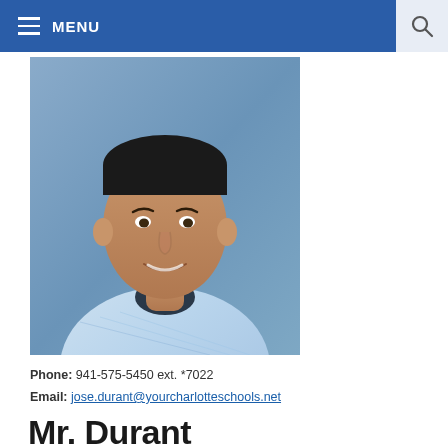MENU
[Figure (photo): Professional headshot of Mr. Durant, a middle-aged man wearing a light blue plaid button-up shirt, smiling, against a blue background.]
Phone: 941-575-5450 ext. *7022
Email: jose.durant@yourcharlotteschools.net
Mr. Durant